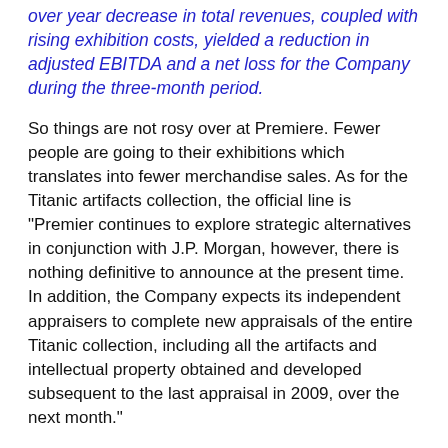over year decrease in total revenues, coupled with rising exhibition costs, yielded a reduction in adjusted EBITDA and a net loss for the Company during the three-month period.
So things are not rosy over at Premiere. Fewer people are going to their exhibitions which translates into fewer merchandise sales. As for the Titanic artifacts collection, the official line is "Premier continues to explore strategic alternatives in conjunction with J.P. Morgan, however, there is nothing definitive to announce at the present time. In addition, the Company expects its independent appraisers to complete new appraisals of the entire Titanic collection, including all the artifacts and intellectual property obtained and developed subsequent to the last appraisal in 2009, over the next month."
The nugget here is a new appraisal is being undertaken but not just of the Titanic artifacts but the intellectual property developed as part of this collection. That tells me they are trying to sweeten the pot. They will not only get the entire